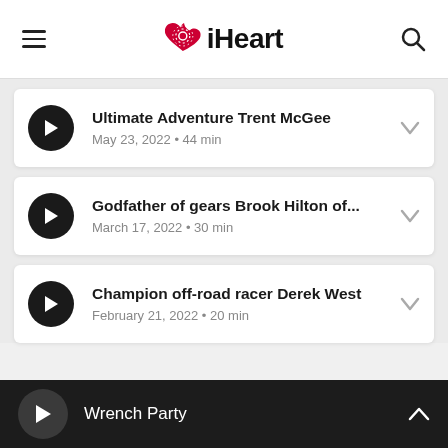iHeart
Ultimate Adventure Trent McGee
May 23, 2022 • 44 min
Godfather of gears Brook Hilton of...
March 17, 2022 • 30 min
Champion off-road racer Derek West
February 21, 2022 • 20 min
Wrench Party